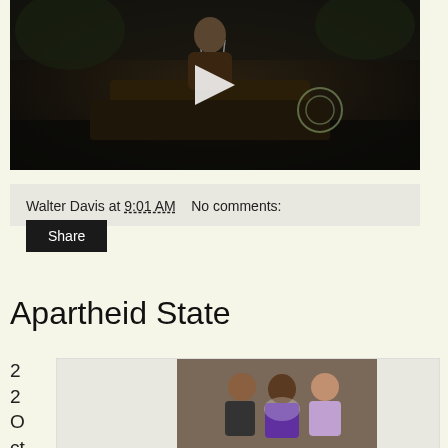[Figure (photo): Video thumbnail showing a man speaking at a podium with a UN emblem, dark background, with a play button overlay]
Walter Davis at 9:01 AM   No comments:
Share
Apartheid State
22 Oct
[Figure (photo): Three people posing together indoors, one wearing a purple top]